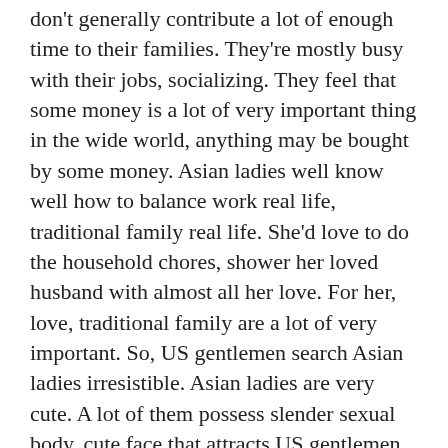don't generally contribute a lot of enough time to their families. They're mostly busy with their jobs, socializing. They feel that some money is a lot of very important thing in the wide world, anything may be bought by some money. Asian ladies well know well how to balance work real life, traditional family real life. She'd love to do the household chores, shower her loved husband with almost all her love. For her, love, traditional family are a lot of very important. So, US gentlemen search Asian ladies irresistible. Asian ladies are very cute. A lot of them possess slender sexual body, cute face that attracts US gentlemen to them. Their exotic looks, warm nature steal the hearts of US gentlemen.
Date Asian Ladies On-line.
Cute Asian Russian Ladies are looking for